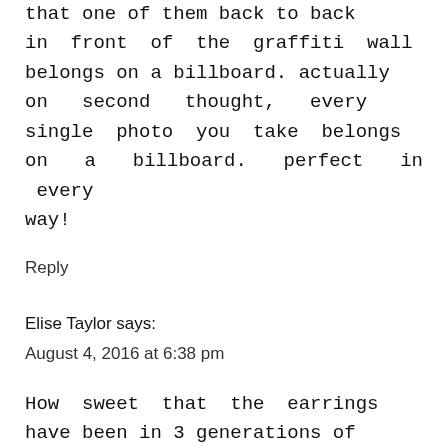that one of them back to back in front of the graffiti wall belongs on a billboard. actually on second thought, every single photo you take belongs on a billboard. perfect in every way!
Reply
Elise Taylor says:
August 4, 2016 at 6:38 pm
How sweet that the earrings have been in 3 generations of